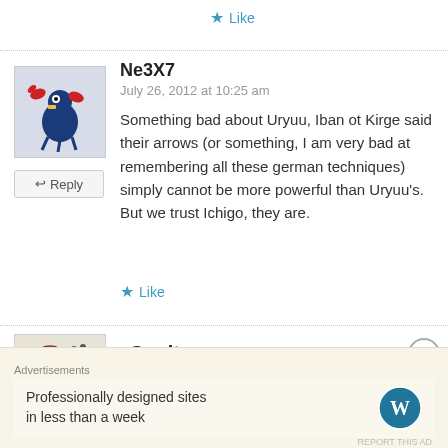★ Like
Ne3X7
July 26, 2012 at 10:25 am
Something bad about Uryuu, Iban ot Kirge said their arrows (or something, I am very bad at remembering all these german techniques) simply cannot be more powerful than Uryuu's. But we trust Ichigo, they are.
★ Like
Sunite
Advertisements
Professionally designed sites in less than a week